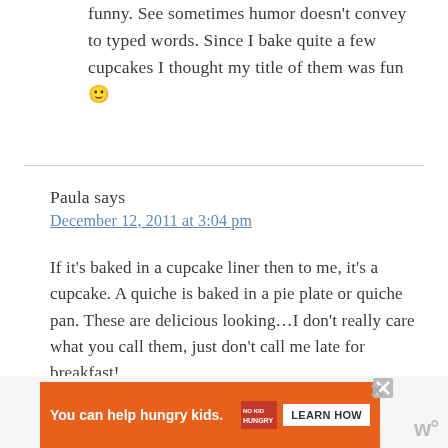funny. See sometimes humor doesn't convey to typed words. Since I bake quite a few cupcakes I thought my title of them was fun 🙂
Paula says
December 12, 2011 at 3:04 pm
If it's baked in a cupcake liner then to me, it's a cupcake. A quiche is baked in a pie plate or quiche pan. These are delicious looking…I don't really care what you call them, just don't call me late for breakfast!
[Figure (other): Orange advertisement banner: 'You can help hungry kids.' with No Kid Hungry logo and 'LEARN HOW' button, with close X button]